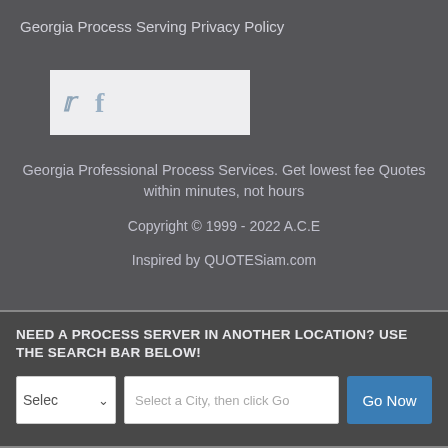Georgia Process Serving Privacy Policy
[Figure (other): Social media share buttons box with Twitter bird icon and Facebook 'f' icon on light grey background]
Georgia Professional Process Services. Get lowest fee Quotes within minutes, not hours
Copyright © 1999 - 2022 A.C.E
Inspired by QUOTESiam.com
NEED A PROCESS SERVER IN ANOTHER LOCATION? USE THE SEARCH BAR BELOW!
Selec  ∨   Select a City, then click Go   Go Now